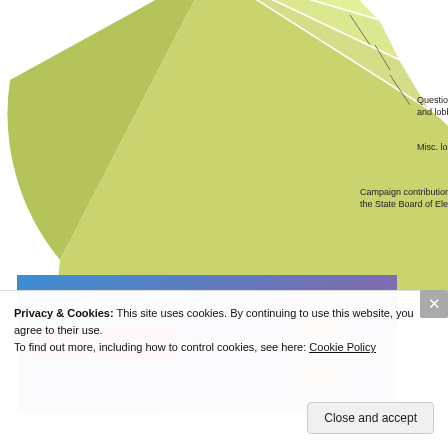[Figure (pie-chart): Ethics inquiries breakdown]
[Figure (screenshot): Website advertisement banner with gradient blue-purple background, 'everything you need.' text, pink 'Build Your Website' button, and a luggage tag image.]
Privacy & Cookies: This site uses cookies. By continuing to use this website, you agree to their use.
To find out more, including how to control cookies, see here: Cookie Policy
Close and accept